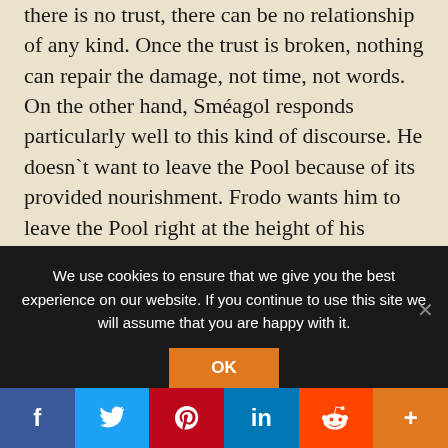there is no trust, there can be no relationship of any kind. Once the trust is broken, nothing can repair the damage, not time, not words.
On the other hand, Sméagol responds particularly well to this kind of discourse. He doesn`t want to leave the Pool because of its provided nourishment. Frodo wants him to leave the Pool right at the height of his pleasure, eating. Sméagol is indecisive for a brief moment, deliberating having to leave the fish behind or taking it with him, but since
We use cookies to ensure that we give you the best experience on our website. If you continue to use this site we will assume that you are happy with it.